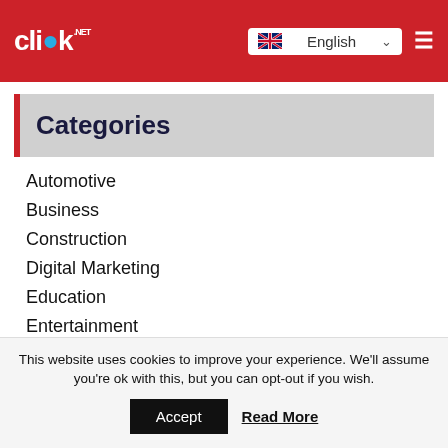clik.net — English language selector and hamburger menu
Categories
Automotive
Business
Construction
Digital Marketing
Education
Entertainment
Fashion
Finance
Food & Drinks
This website uses cookies to improve your experience. We'll assume you're ok with this, but you can opt-out if you wish. Accept Read More